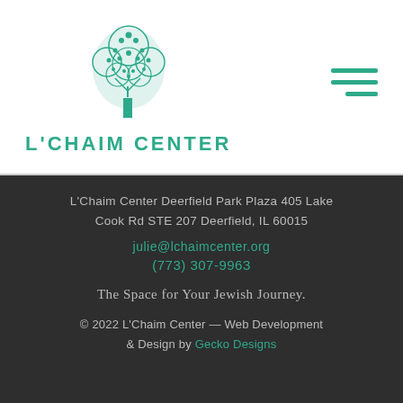[Figure (logo): L'Chaim Center logo with a decorative tree above the text 'L'CHAIM CENTER' in teal]
L'Chaim Center Deerfield Park Plaza 405 Lake Cook Rd STE 207 Deerfield, IL 60015
julie@lchaimcenter.org
(773) 307-9963
The Space for Your Jewish Journey.
© 2022 L'Chaim Center — Web Development & Design by Gecko Designs